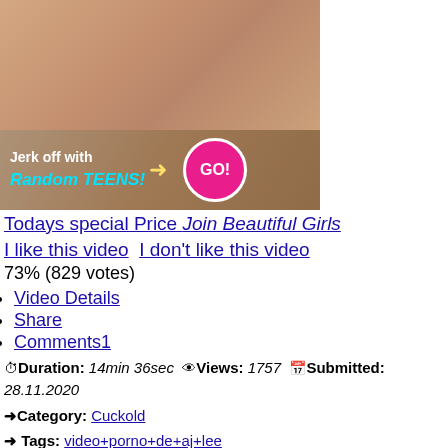[Figure (photo): Adult content advertisement image with overlay text 'Jerk off with Random TEENS!' and a pink GO! button]
Todays special Price Join Beautiful Girls
I like this video  I don't like this video
73% (829 votes)
Video Details
Share
Comments1
Duration: 14min 36sec  Views: 1757  Submitted: 28.11.2020
Category: Cuckold
Tags: video+porno+de+aj+lee
Download
Link to this video
https://macouinc.org/cuckold